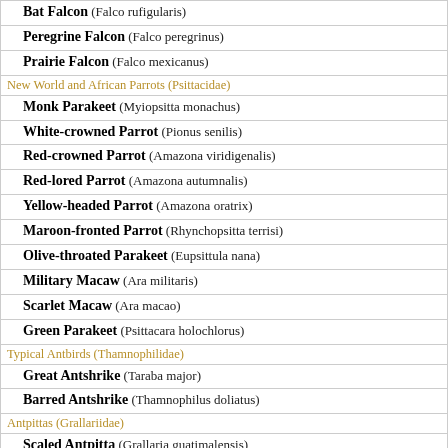Bat Falcon (Falco rufigularis)
Peregrine Falcon (Falco peregrinus)
Prairie Falcon (Falco mexicanus)
New World and African Parrots (Psittacidae)
Monk Parakeet (Myiopsitta monachus)
White-crowned Parrot (Pionus senilis)
Red-crowned Parrot (Amazona viridigenalis)
Red-lored Parrot (Amazona autumnalis)
Yellow-headed Parrot (Amazona oratrix)
Maroon-fronted Parrot (Rhynchopsitta terrisi)
Olive-throated Parakeet (Eupsittula nana)
Military Macaw (Ara militaris)
Scarlet Macaw (Ara macao)
Green Parakeet (Psittacara holochlorus)
Typical Antbirds (Thamnophilidae)
Great Antshrike (Taraba major)
Barred Antshrike (Thamnophilus doliatus)
Antpittas (Grallariidae)
Scaled Antpitta (Grallaria guatimalensis)
Ovenbirds and Woodcreepers (Furnariidae)
Middle American Leaftosser (Sclerurus mexicanus)
Olivaceous Woodcreeper (partial)